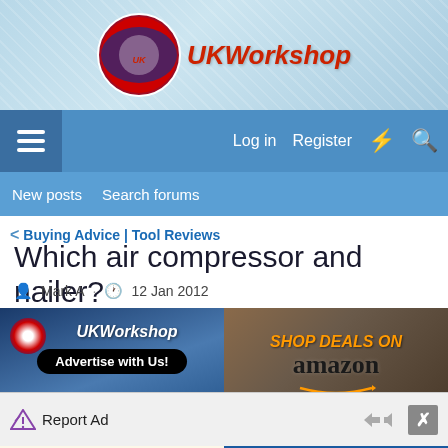[Figure (logo): UKWorkshop forum logo header banner with diagonal stripe pattern background and logo circle with UK flag design]
Log in  Register
New posts  Search forums
< Buying Advice | Tool Reviews
Which air compressor and nailer?
Mark A · 12 Jan 2012
[Figure (illustration): UKWorkshop Advertise with Us! banner ad]
[Figure (illustration): Shop Deals on Amazon www.ukworkshop.co.uk banner ad]
[Figure (logo): INCRA Authorised Dealer advertisement]
[Figure (logo): Sauter Shop advertisement]
Report Ad